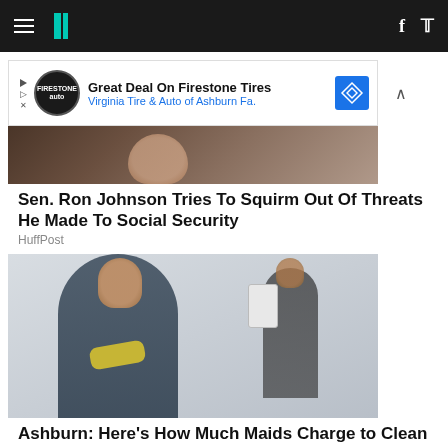HuffPost navigation bar with hamburger menu, logo, Facebook and Twitter icons
[Figure (screenshot): Advertisement banner: Great Deal On Firestone Tires - Virginia Tire & Auto of Ashburn Fa.]
[Figure (photo): Close-up photo of a man (Sen. Ron Johnson), partially visible, dark suit]
Sen. Ron Johnson Tries To Squirm Out Of Threats He Made To Social Security
HuffPost
[Figure (photo): Photo of a woman in dark blue scrubs with yellow rubber gloves, smiling, arms crossed, cleaning staff in background]
Ashburn: Here's How Much Maids Charge to Clean a House